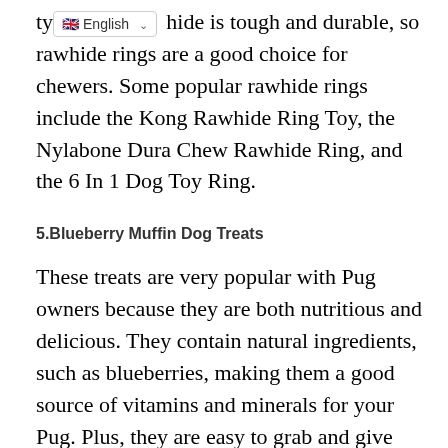type of rawhide is tough and durable, so rawhide rings are a good choice for chewers. Some popular rawhide rings include the Kong Rawhide Ring Toy, the Nylabone Dura Chew Rawhide Ring, and the 6 In 1 Dog Toy Ring.
5.Blueberry Muffin Dog Treats
These treats are very popular with Pug owners because they are both nutritious and delicious. They contain natural ingredients, such as blueberries, making them a good source of vitamins and minerals for your Pug. Plus, they are easy to grab and give your Pug a little